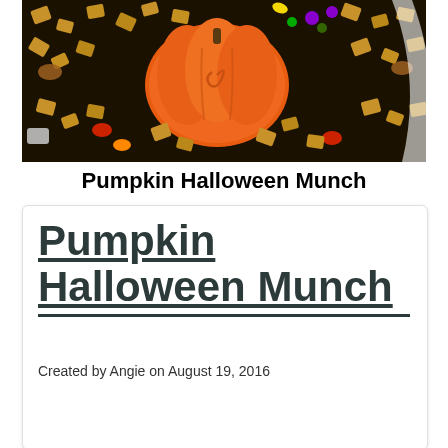[Figure (photo): A bowl of Halloween snack mix featuring Chex cereal, pretzels, M&Ms, and a large orange pumpkin-shaped chocolate cookie on top, with colorful Halloween candies.]
Pumpkin Halloween Munch
Pumpkin Halloween Munch
Created by Angie on August 19, 2016